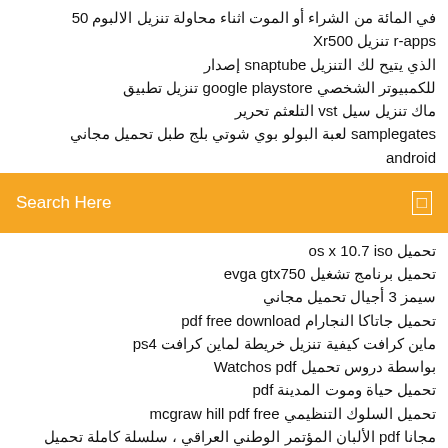في المائة من الشراء أو الموت اثناء محاولة تنزيل الالبوم 50
r-apps تنزيل Xr500
الذي يتيح لك التنزيل snaptube إصدار
للكمبيوتر الشخصي google playstore تنزيل تطبيق
ماك تنزيل سيل vst التلعثم تحرير
samplegates لعبة البولو بوي شوتي بلج طبل تحميل مجاني
android ...
Search Here
تحميل os x 10.7 iso
تحميل برنامج تشغيل evga gtx750
سيمز 3 أجيال تحميل مجاني
تحميل جاتاكا النجارام pdf free download
ماين كرافت كيفية تنزيل خريطة لماين كرافت ps4
بواسطة دروس تحميل Watchos pdf
تحميل حياة وموت المدينة pdf
تحميل السلوك التنظيمي mcgraw hill pdf free
مجانا pdf الألبان المؤتمر الوطني العراقي ، سلسلة كاملة تحميل
Android download folder mp3